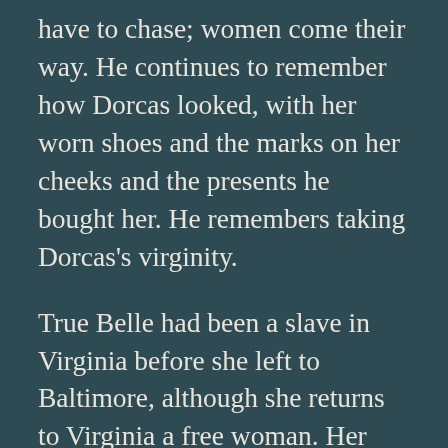have to chase; women come their way. He continues to remember how Dorcas looked, with her worn shoes and the marks on her cheeks and the presents he bought her. He remembers taking Dorcas's virginity.
True Belle had been a slave in Virginia before she left to Baltimore, although she returns to Virginia a free woman. Her family is in squalor because the state repossessed everything when Rose's husband disappeared. True Belle was on an estate of a white man whose daughter got pregnant by a black man and was disowned, and True Belle moved with her after being disowned. She was forced to leave her daughters on the plantation. The daughter, Vera Louise, names her bastard child Golden